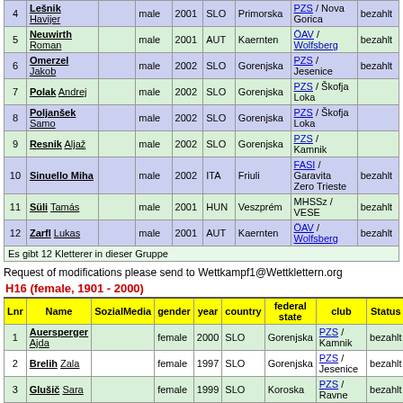| Lnr | Name | SozialMedia | gender | year | country | federal state | club | Status |
| --- | --- | --- | --- | --- | --- | --- | --- | --- |
| 4 | Lešnik Havijer |  | male | 2001 | SLO | Primorska | PZS / Nova Gorica | bezahlt |
| 5 | Neuwirth Roman |  | male | 2001 | AUT | Kaernten | ÖAV / Wolfsberg | bezahlt |
| 6 | Omerzel Jakob |  | male | 2002 | SLO | Gorenjska | PZS / Jesenice | bezahlt |
| 7 | Polak Andrej |  | male | 2002 | SLO | Gorenjska | PZS / Škofja Loka |  |
| 8 | Poljanšek Samo |  | male | 2002 | SLO | Gorenjska | PZS / Škofja Loka |  |
| 9 | Resnik Aljaž |  | male | 2002 | SLO | Gorenjska | PZS / Kamnik |  |
| 10 | Sinuello Miha |  | male | 2002 | ITA | Friuli | FASI / Garavita Zero Trieste | bezahlt |
| 11 | Süli Tamás |  | male | 2001 | HUN | Veszprém | MHSSz / VESE | bezahlt |
| 12 | Zarfl Lukas |  | male | 2001 | AUT | Kaernten | ÖAV / Wolfsberg | bezahlt |
| Es gibt 12 Kletterer in dieser Gruppe |  |  |  |  |  |  |  |  |
Request of modifications please send to Wettkampf1@Wettklettern.org
H16 (female, 1901 - 2000)
| Lnr | Name | SozialMedia | gender | year | country | federal state | club | Status |
| --- | --- | --- | --- | --- | --- | --- | --- | --- |
| 1 | Auersperger Ajda |  | female | 2000 | SLO | Gorenjska | PZS / Kamnik | bezahlt |
| 2 | Brelih Zala |  | female | 1997 | SLO | Gorenjska | PZS / Jesenice | bezahlt |
| 3 | Glušič Sara |  | female | 1999 | SLO | Koroska | PZS / Ravne | bezahlt |
| 4 | Jereb Tina |  | female | 1999 | SLO | Gorenjska | PZS / Kamnik | bezahlt |
| 5 | Kastelic Lampe Lucija |  | female | 1999 | SLO | Gorenjska | PZS / Kamnik | bezahlt |
| 6 | Kavassilas Zenia |  | female | 1997 | AUT | Kaernten | ÖAV / Wolfsberg | bezahlt |